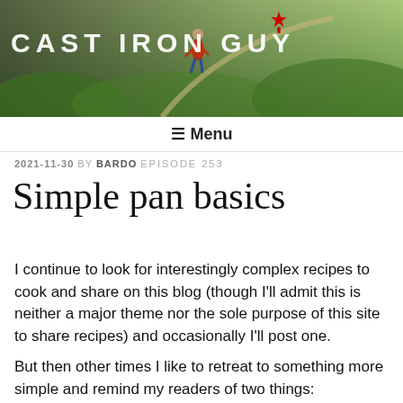[Figure (photo): Header image showing a trail runner on a green landscape path, with the blog title 'CAST IRON GUY' and a red maple leaf overlaid in white bold uppercase letters.]
≡ Menu
2021-11-30 BY BARDO EPISODE 253
Simple pan basics
I continue to look for interestingly complex recipes to cook and share on this blog (though I'll admit this is neither a major theme nor the sole purpose of this site to share recipes) and occasionally I'll post one.
But then other times I like to retreat to something more simple and remind my readers of two things: